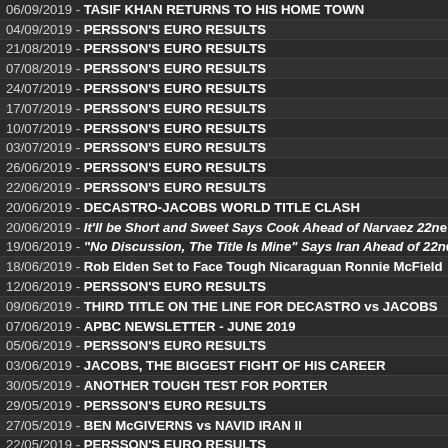06/09/2019 - TASIF KHAN RETURNS TO HIS HOME TOWN
04/09/2019 - PERSSON'S EURO RESULTS
21/08/2019 - PERSSON'S EURO RESULTS
07/08/2019 - PERSSON'S EURO RESULTS
24/07/2019 - PERSSON'S EURO RESULTS
17/07/2019 - PERSSON'S EURO RESULTS
10/07/2019 - PERSSON'S EURO RESULTS
03/07/2019 - PERSSON'S EURO RESULTS
26/06/2019 - PERSSON'S EURO RESULTS
22/06/2019 - PERSSON'S EURO RESULTS
20/06/2019 - DECASTRO-JACOBS WORLD TITLE CLASH
20/06/2019 - It'll be Short and Sweet Says Cook Ahead of Narvaez 22nd
19/06/2019 - "No Discussion, The Title Is Mine" Says Iran Ahead of 22nd
18/06/2019 - Rob Elden Set to Face Tough Nicaraguan Ronnie McField
12/06/2019 - PERSSON'S EURO RESULTS
09/06/2019 - THIRD TITLE ON THE LINE FOR DECASTRO vs JACOBS
07/06/2019 - APBC NEWSLETTER - JUNE 2019
05/06/2019 - PERSSON'S EURO RESULTS
03/06/2019 - JACOBS, THE BIGGEST FIGHT OF HIS CAREER
30/05/2019 - ANOTHER TOUGH TEST FOR PORTER
29/05/2019 - PERSSON'S EURO RESULTS
27/05/2019 - BEN McGIVERNS vs NAVID IRAN II
22/05/2019 - PERSSON'S EURO RESULTS
17/05/2019 - DECASTRO vs JACOBS TITLE CLASH SET FOR JUNE 22
15/05/2019 - PERSSON'S EURO RESULTS
08/05/2019 - PERSSON'S EURO RESULTS
01/05/2019 - PERSSON'S EURO RESULTS